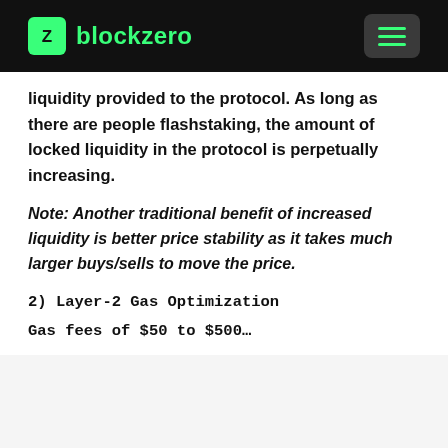blockzero
liquidity provided to the protocol. As long as there are people flashstaking, the amount of locked liquidity in the protocol is perpetually increasing.
Note: Another traditional benefit of increased liquidity is better price stability as it takes much larger buys/sells to move the price.
2) Layer-2 Gas Optimization
Gas fees of $50 to $500…